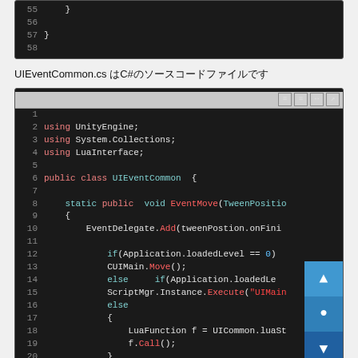[Figure (screenshot): Code editor screenshot showing lines 55-58 of a C# file with closing braces on dark background]
UIEventCommon.cs はC#のソースコードファイルです
[Figure (screenshot): Code editor screenshot showing UIEventCommon.cs C# source file, lines 1-20, with syntax highlighting. Code includes using statements for UnityEngine, System.Collections, LuaInterface, a public class UIEventCommon with a static public void EventMove method containing EventDelegate.Add, Application.loadedLevel checks, CUIMain.Move(), ScriptMgr.Instance.Execute, LuaFunction f = UICommon.luaSt, f.Call()]